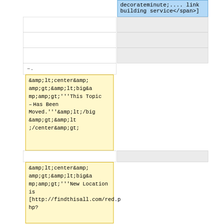decorateminute .... link building service</span>]
–.
&amp;amp;lt;center&amp;amp;gt;&amp;amp;lt;big&amp;amp;gt;'''This Topic Has Been Moved.'''&amp;amp;lt;/big&amp;amp;gt;&amp;amp;lt;/center&amp;amp;gt;
&amp;amp;lt;center&amp;amp;gt;&amp;amp;lt;big&amp;amp;gt;'''New Location is [http://findthisall.com/red.php?